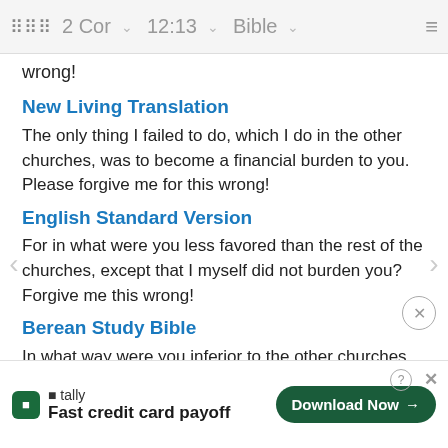⠿ 2 Cor ▾  12:13 ▾  Bible ▾  ≡
wrong!
New Living Translation
The only thing I failed to do, which I do in the other churches, was to become a financial burden to you. Please forgive me for this wrong!
English Standard Version
For in what were you less favored than the rest of the churches, except that I myself did not burden you? Forgive me this wrong!
Berean Study Bible
In what way were you inferior to the other churches, except that I was not a burden to you? Forgive me this wrong!
Berea…
For in… e
[Figure (screenshot): Tally app advertisement banner: logo, 'Fast credit card payoff' tagline, 'Download Now' button, help and close icons]